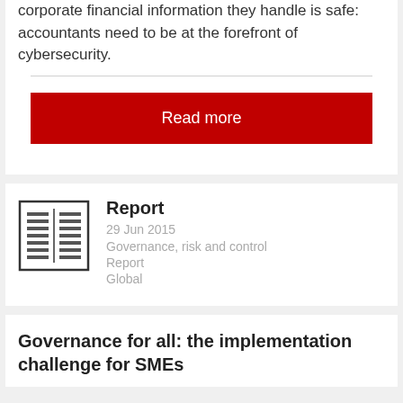corporate financial information they handle is safe: accountants need to be at the forefront of cybersecurity.
Read more
[Figure (illustration): Document/report icon — two-column newspaper-style layout with lines representing text]
Report
29 Jun 2015
Governance, risk and control
Report
Global
Governance for all: the implementation challenge for SMEs